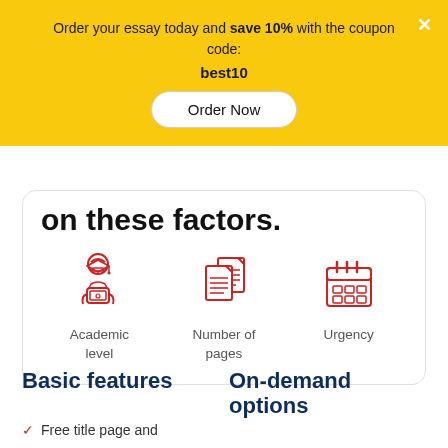Order your essay today and save 10% with the coupon code: best10
Order Now
on these factors.
[Figure (illustration): Three red line icons: 1) Academic with graduation cap and laptop, 2) Number of pages with stacked documents, 3) Urgency with a calendar]
Academic level
Number of pages
Urgency
Basic features
On-demand options
Free title page and